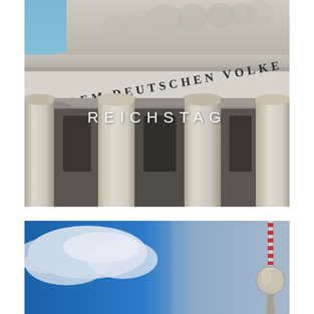[Figure (photo): Close-up photograph of the Reichstag building facade in Berlin, showing the neoclassical pediment with sculptural reliefs, Corinthian columns, and the inscription 'DEM DEUTSCHEN VOLKE'. The word 'REICHSTAG' is overlaid in white text on the image.]
[Figure (photo): Photograph showing the Berlin TV Tower (Fernsehturm) against a dramatic blue sky with white clouds. The tower's distinctive red-and-white striped antenna and spherical observation deck are visible on the right side of the image.]